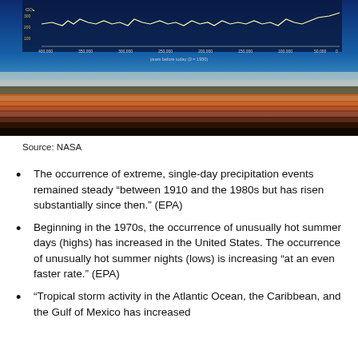[Figure (continuous-plot): A composite image showing a scientific chart at the top (CO2 or temperature data over time, x-axis labeled 'years before today (0 = 1950)' ranging from 400,000 to 0, with a wavy line graph) overlaid on a dramatic landscape photograph with gradient sky from deep blue to orange sunset horizon.]
Source: NASA
The occurrence of extreme, single-day precipitation events remained steady “between 1910 and the 1980s but has risen substantially since then.” (EPA)
Beginning in the 1970s, the occurrence of unusually hot summer days (highs) has increased in the United States. The occurrence of unusually hot summer nights (lows) is increasing “at an even faster rate.” (EPA)
“Tropical storm activity in the Atlantic Ocean, the Caribbean, and the Gulf of Mexico has increased